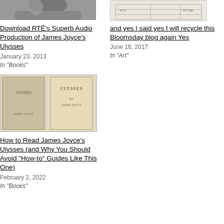[Figure (photo): Black and white photo, top portion of a person's face]
Download RTÉ's Superb Audio Production of James Joyce's Ulysses
January 23, 2013
In "Books"
[Figure (photo): Handwritten document with table/grid, numbers visible like -37.0 and 73° Fah]
and yes I said yes I will recycle this Bloomsday blog again Yes
June 16, 2017
In "Art"
[Figure (photo): Two copies of Ulysses by James Joyce, side by side]
How to Read James Joyce's Ulysses (and Why You Should Avoid "How-to" Guides Like This One)
February 2, 2022
In "Books"